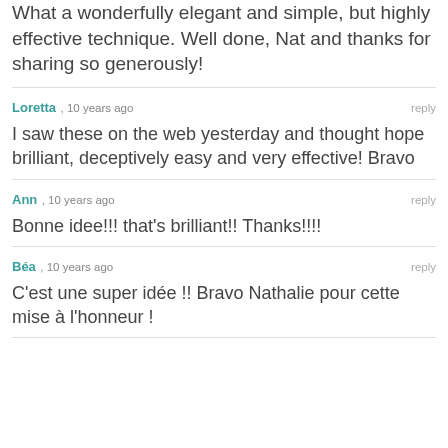What a wonderfully elegant and simple, but highly effective technique. Well done, Nat and thanks for sharing so generously!
Loretta , 10 years ago
I saw these on the web yesterday and thought hope brilliant, deceptively easy and very effective! Bravo
Ann , 10 years ago
Bonne idee!!! that's brilliant!! Thanks!!!!
Béa , 10 years ago
C'est une super idée !! Bravo Nathalie pour cette mise à l'honneur !